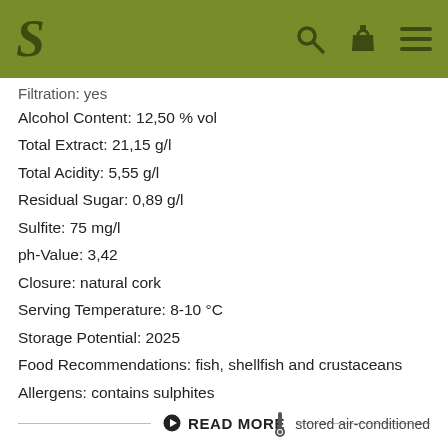S [logo] [search icon] [cart icon] [menu icon]
Filtration: yes
Alcohol Content: 12,50 % vol
Total Extract: 21,15 g/l
Total Acidity: 5,55 g/l
Residual Sugar: 0,89 g/l
Sulfite: 75 mg/l
ph-Value: 3,42
Closure: natural cork
Serving Temperature: 8-10 °C
Storage Potential: 2025
Food Recommendations: fish, shellfish and crustaceans
Allergens: contains sulphites
READ MORE
stored air-conditioned